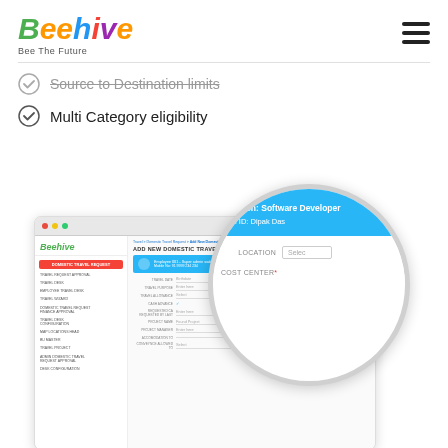[Figure (logo): Beehive logo with colorful text and tagline 'Bee The Future']
Source to Destination limits
Multi Category eligibility
[Figure (screenshot): Screenshot of Beehive domestic travel request form with a magnifier circle zoomed in showing designation 'Software Developer', email ID 'Dipak Das', LOCATION and COST CENTER fields]